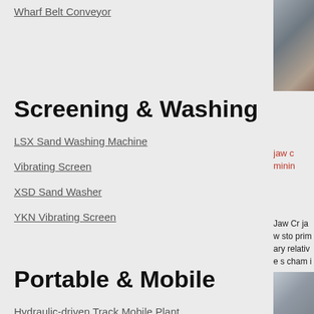Wharf Belt Conveyor
Screening & Washing
LSX Sand Washing Machine
Vibrating Screen
XSD Sand Washer
YKN Vibrating Screen
Portable & Mobile
Hydraulic-driven Track Mobile Plant
K Series Mobile Crushing Plant
Mobile Cone Crusher
Mobile Impact Crusher
[Figure (photo): Industrial facility photo, partially cropped on right side]
jaw cr
minin
Jaw Cr jaw sto primary relative s cham improve output
[Figure (photo): Second industrial/equipment photo, partially cropped on right side]